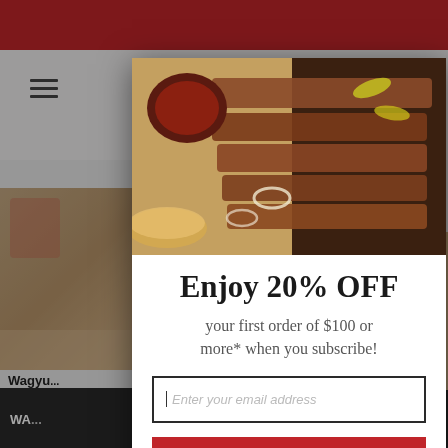[Figure (screenshot): Website screenshot showing a BBQ/meat product page with a popup modal overlay. Background shows a website with red header bar, navigation with hamburger menu and cart icon, and partially visible product cards showing Wagyu beef products with star ratings.]
[Figure (photo): Photo of sliced BBQ brisket on a wooden cutting board with sauce bowl, onion rings, pickle peppers, and bread.]
Enjoy 20% OFF
your first order of $100 or more* when you subscribe!
Enter your email address
ACTIVATE OFFER